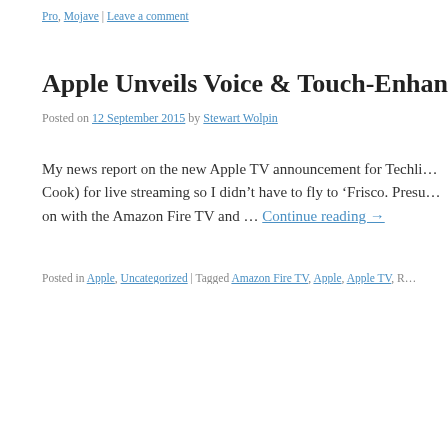Pro, Mojave | Leave a comment
Apple Unveils Voice & Touch-Enhanced A
Posted on 12 September 2015 by Stewart Wolpin
My news report on the new Apple TV announcement for Techli… Cook) for live streaming so I didn't have to fly to 'Frisco. Presu… on with the Amazon Fire TV and … Continue reading →
Posted in Apple, Uncategorized | Tagged Amazon Fire TV, Apple, Apple TV, R